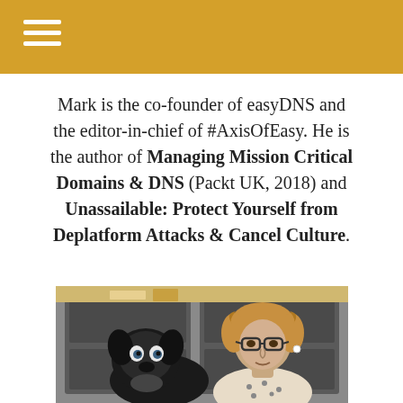Mark is the co-founder of easyDNS and the editor-in-chief of #AxisOfEasy. He is the author of Managing Mission Critical Domains & DNS (Packt UK, 2018) and Unassailable: Protect Yourself from Deplatform Attacks & Cancel Culture.
[Figure (photo): Comic-style illustrated photo of a person with glasses and wavy hair, alongside a dog, in front of a dark door/cabinet background.]